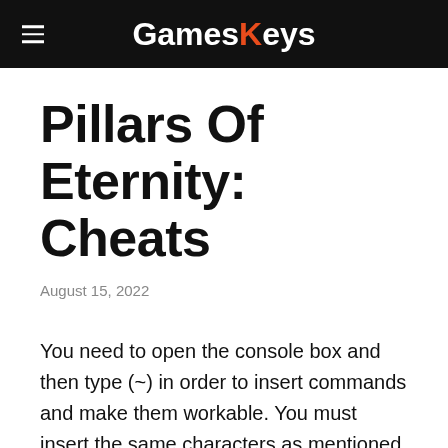GamesKeys
Pillars Of Eternity: Cheats
August 15, 2022
You need to open the console box and then type (~) in order to insert commands and make them workable. You must insert the same characters as mentioned in the source (capitalization of alphabets matter)